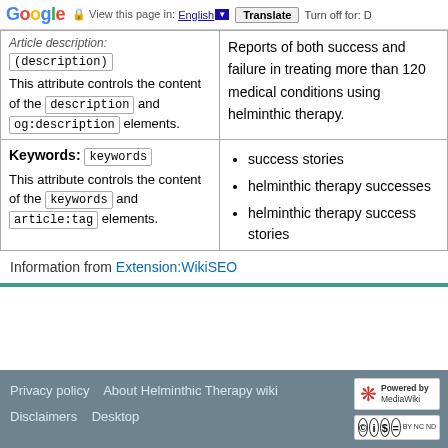Google  View this page in: English  Translate  Turn off for: D
| Attribute / Description | Example |
| --- | --- |
| (description)
This attribute controls the content of the description and og:description elements. | Reports of both success and failure in treating more than 120 medical conditions using helminthic therapy. |
| Keywords: (keywords)
This attribute controls the content of the keywords and article:tag elements. | • success stories
• helminthic therapy successes
• helminthic therapy success stories |
Information from Extension:WikiSEO
Privacy policy  About Helminthic Therapy wiki  Disclaimers  Desktop  Powered by MediaWiki  CC BY NC ND